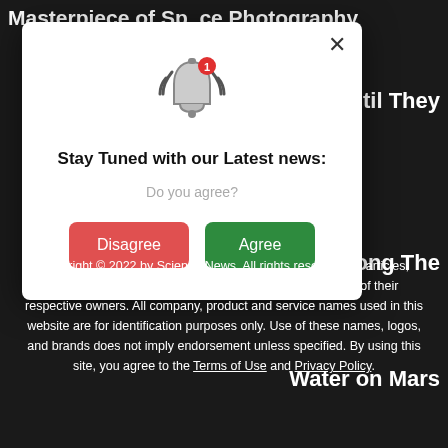Masterpiece of Space Photography
t, Until They
s Are Among The
Water on Mars
[Figure (screenshot): A modal dialog popup titled 'Stay Tuned with our Latest news:' with a notification bell icon at the top, a 'Do you agree?' subtitle, and two buttons: 'Disagree' (red) and 'Agree' (green). There is an X close button in the upper right of the modal.]
Copyright © 2022 by Science News. All rights reserved. All articles, images, product names, logos, and brands are property of their respective owners. All company, product and service names used in this website are for identification purposes only. Use of these names, logos, and brands does not imply endorsement unless specified. By using this site, you agree to the Terms of Use and Privacy Policy.